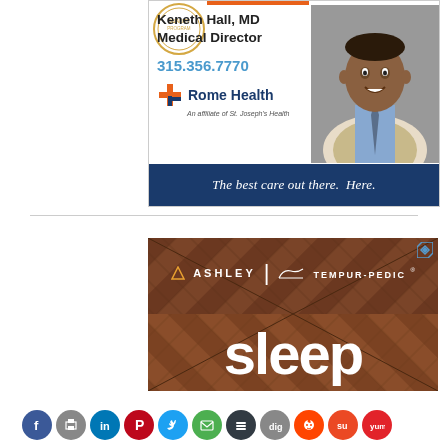[Figure (infographic): Rome Health advertisement featuring Dr. Keneth Hall MD, Medical Director. Includes photo of doctor, phone number 315.356.7770, Rome Health logo, tagline 'The best care out there. Here.' Blue navy banner at bottom.]
[Figure (infographic): Ashley Tempur-Pedic advertisement showing wood parquet background with brand logos and large white 'sleep' text.]
[Figure (infographic): Row of social media sharing icons: Facebook, Print, LinkedIn, Pinterest, Twitter, Email, Buffer, Digg, Reddit, StumbleUpon, Yummly]